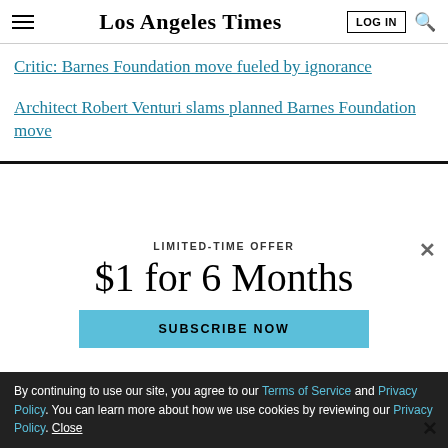Los Angeles Times
Critic: Barnes Foundation move fueled by ignorance
Architect Robert Venturi slams planned Barnes Foundation move
LIMITED-TIME OFFER
$1 for 6 Months
SUBSCRIBE NOW
By continuing to use our site, you agree to our Terms of Service and Privacy Policy. You can learn more about how we use cookies by reviewing our Privacy Policy. Close